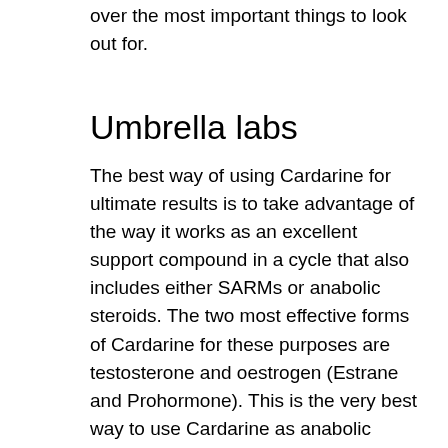over the most important things to look out for.
Umbrella labs
The best way of using Cardarine for ultimate results is to take advantage of the way it works as an excellent support compound in a cycle that also includes either SARMs or anabolic steroids. The two most effective forms of Cardarine for these purposes are testosterone and oestrogen (Estrane and Prohormone). This is the very best way to use Cardarine as anabolic steroids, sarms tablets for sale.
Prohormone, a metabolite of testosterone, is used for muscle growth, buy sarms with credit card. Prohormone is also used in combination with oestrogen, either with a dihydrotestosterone (DHT) or a